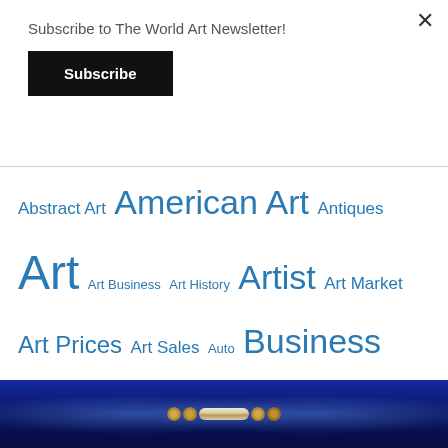Subscribe to The World Art Newsletter!
Subscribe
Abstract Art American Art Antiques Art Art Business Art History Artist Art Market Art Prices Art Sales Auto Business Central Europe Collectible Cars Contemporary Art Digital Art Eastern Europe Exhibition Ferrari Fine Art GemGenève Gems Gemstones Geneva Gold History How-To Interview Investing Jewellery Jewelry Luxury Modern Art Money NFT NFTs Photography Press Release Russian Art Sculptor Sculpture Switzerland Tamoikin Art Fund USSR
[Figure (photo): Bottom portion of a photo showing a musical instrument or cylindrical object with gold/brass end caps against a dramatic blue-lit background]